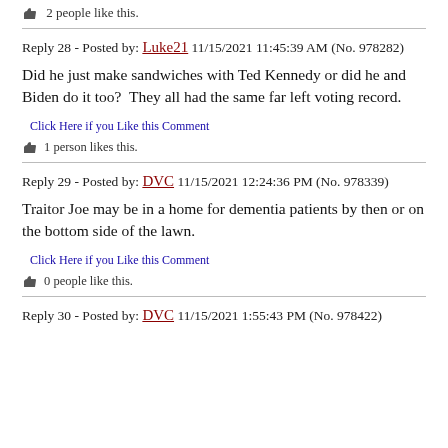2 people like this.
Reply 28 - Posted by: Luke21 11/15/2021 11:45:39 AM (No. 978282)
Did he just make sandwiches with Ted Kennedy or did he and Biden do it too?  They all had the same far left voting record.
Click Here if you Like this Comment
1 person likes this.
Reply 29 - Posted by: DVC 11/15/2021 12:24:36 PM (No. 978339)
Traitor Joe may be in a home for dementia patients by then or on the bottom side of the lawn.
Click Here if you Like this Comment
0 people like this.
Reply 30 - Posted by: DVC 11/15/2021 1:55:43 PM (No. 978422)